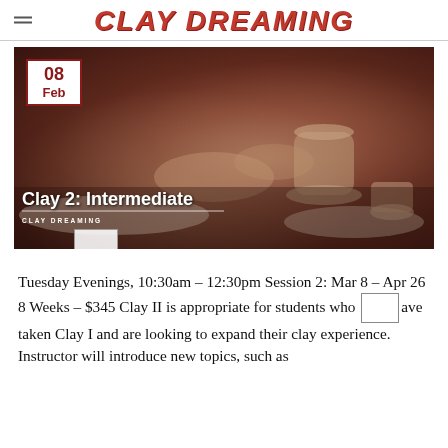CLAY DREAMING
[Figure (photo): Pottery class photo showing hands working clay on a potter's wheel, with overlay text 'Clay 2: Intermediate' and 'CLAY DREAMING'. Date badge shows 08 Feb.]
Tuesday Evenings, 10:30am – 12:30pm Session 2: Mar 8 – Apr 26 8 Weeks – $345 Clay II is appropriate for students who have taken Clay I and are looking to expand their clay experience.  Instructor will introduce new topics, such as